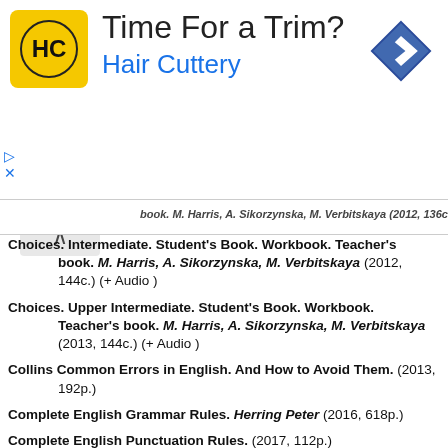[Figure (illustration): Advertisement banner for Hair Cuttery with yellow logo, 'Time For a Trim?' headline, and blue directional sign icon]
Choices. Intermediate. Student's Book. Workbook. Teacher's book. M. Harris, A. Sikorzynska, M. Verbitskaya (2012, 144c.) (+ Audio )
Choices. Upper Intermediate. Student's Book. Workbook. Teacher's book. M. Harris, A. Sikorzynska, M. Verbitskaya (2013, 144c.) (+ Audio )
Collins Common Errors in English. And How to Avoid Them. (2013, 192p.)
Complete English Grammar Rules. Herring Peter (2016, 618p.)
Complete English Punctuation Rules. (2017, 112p.)
Correct Your English Errors. Collins Tim. (2018, 368p.)
Cutting Edge. Starter. Students' book. Workbook. Teacher's book. (2013, 3-ed.) (+ Audio)
Cutting Edge. Elementary. Students' book. Workbook. Teacher's book. (2013, 3-ed.) (+ Audio)